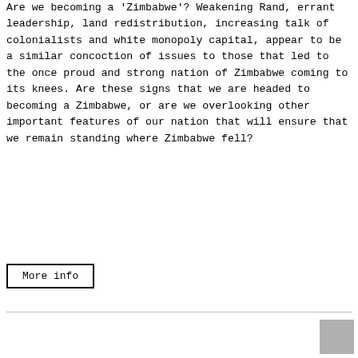Are we becoming a 'Zimbabwe'? Weakening Rand, errant leadership, land redistribution, increasing talk of colonialists and white monopoly capital, appear to be a similar concoction of issues to those that led to the once proud and strong nation of Zimbabwe coming to its knees. Are these signs that we are headed to becoming a Zimbabwe, or are we overlooking other important features of our nation that will ensure that we remain standing where Zimbabwe fell?
More info